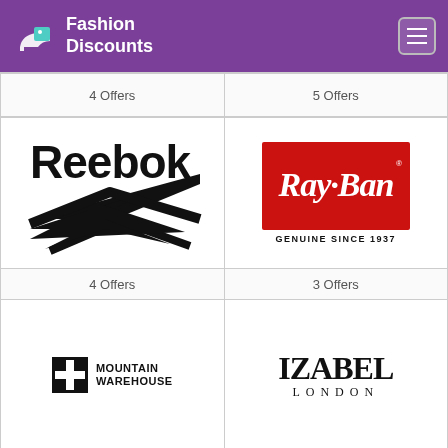Fashion Discounts
4 Offers
5 Offers
[Figure (logo): Reebok logo — bold black text 'Reebok' with vector delta/chevron mark below]
[Figure (logo): Ray-Ban logo — white script lettering on red rectangle, tagline 'GENUINE SINCE 1937' below]
4 Offers
3 Offers
[Figure (logo): Mountain Warehouse logo — black crosshair/plus icon with bold black text 'MOUNTAIN WAREHOUSE']
[Figure (logo): Izabel London logo — large serif bold 'IZABEL' with spaced 'LONDON' below]